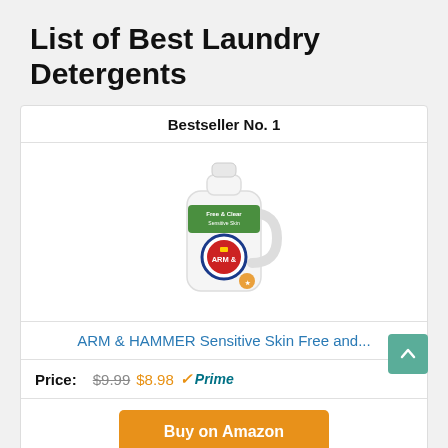List of Best Laundry Detergents
Bestseller No. 1
[Figure (photo): ARM & HAMMER laundry detergent bottle (white plastic bottle with green label and red sunburst icon)]
ARM & HAMMER Sensitive Skin Free and...
Price: $9.99 $8.98 Prime
Buy on Amazon
Bestseller No. 2